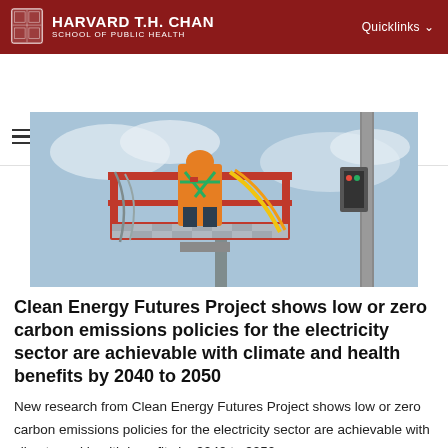HARVARD T.H. CHAN SCHOOL OF PUBLIC HEALTH — Quicklinks
[Figure (logo): Harvard T.H. Chan School of Public Health C-CHANGE Center for Climate, Health, and the Global Environment secondary navigation logo]
[Figure (photo): Worker in orange safety harness and hard hat standing on a red aerial lift platform with electrical equipment, against a blue sky]
Clean Energy Futures Project shows low or zero carbon emissions policies for the electricity sector are achievable with climate and health benefits by 2040 to 2050
New research from Clean Energy Futures Project shows low or zero carbon emissions policies for the electricity sector are achievable with climate and health benefits by 2040 to 2050